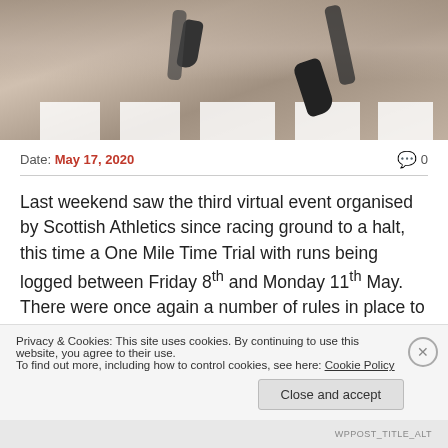[Figure (photo): Photo of someone's feet/legs crossing a pedestrian crossing (zebra crossing), motion blur, sepia-toned]
Date: May 17, 2020    💬 0
Last weekend saw the third virtual event organised by Scottish Athletics since racing ground to a halt, this time a One Mile Time Trial with runs being logged between Friday 8th and Monday 11th May. There were once again a number of rules in place to try to ensure as level a playing field as possible and there were certainly a
Privacy & Cookies: This site uses cookies. By continuing to use this website, you agree to their use.
To find out more, including how to control cookies, see here: Cookie Policy
Close and accept